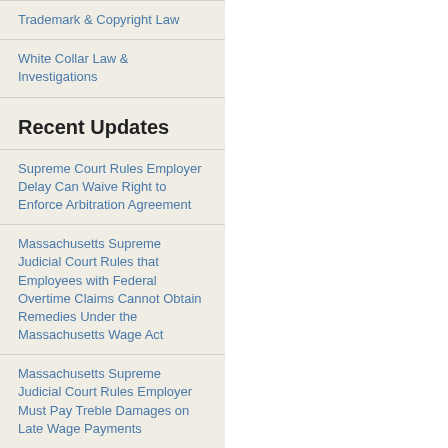Trademark & Copyright Law
White Collar Law & Investigations
Recent Updates
Supreme Court Rules Employer Delay Can Waive Right to Enforce Arbitration Agreement
Massachusetts Supreme Judicial Court Rules that Employees with Federal Overtime Claims Cannot Obtain Remedies Under the Massachusetts Wage Act
Massachusetts Supreme Judicial Court Rules Employer Must Pay Treble Damages on Late Wage Payments
New York City Provides Guidance on Impending Pay Transparency Law
Massachusetts Supreme Judicial Court Rules that